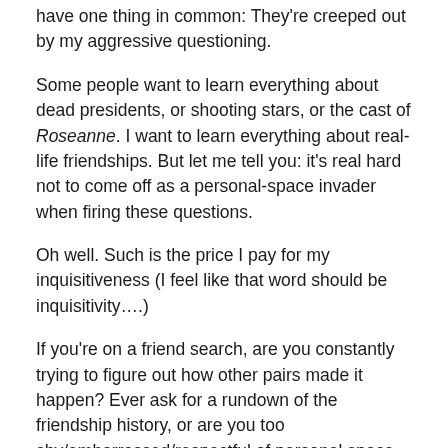have one thing in common: They're creeped out by my aggressive questioning.
Some people want to learn everything about dead presidents, or shooting stars, or the cast of Roseanne. I want to learn everything about real-life friendships. But let me tell you: it's real hard not to come off as a personal-space invader when firing these questions.
Oh well. Such is the price I pay for my inquisitiveness (I feel like that word should be inquisitivity….)
If you're on a friend search, are you constantly trying to figure out how other pairs made it happen? Ever ask for a rundown of the friendship history, or are you too shy/embarrassed/respectful of personal space to bother? And if you want to share the who-what-where of your BFF meet cute, take it away!